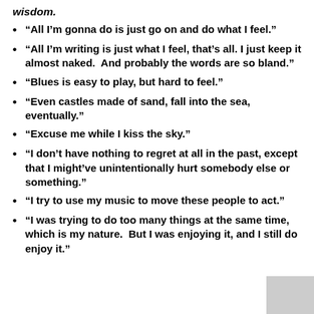wisdom.
“All I’m gonna do is just go on and do what I feel.”
“All I’m writing is just what I feel, that’s all. I just keep it almost naked.  And probably the words are so bland.”
“Blues is easy to play, but hard to feel.”
“Even castles made of sand, fall into the sea, eventually.”
“Excuse me while I kiss the sky.”
“I don’t have nothing to regret at all in the past, except that I might’ve unintentionally hurt somebody else or something.”
“I try to use my music to move these people to act.”
“I was trying to do too many things at the same time, which is my nature.  But I was enjoying it, and I still do enjoy it.”